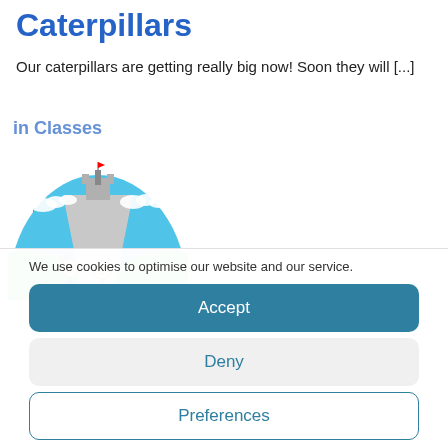Caterpillars
Our caterpillars are getting really big now! Soon they will [...]
Read More
[Figure (illustration): Child's drawing of two stick figures walking on a path toward a castle, with a blue sky and green hills. Partially visible title text above.]
We use cookies to optimise our website and our service.
Accept
Deny
Preferences